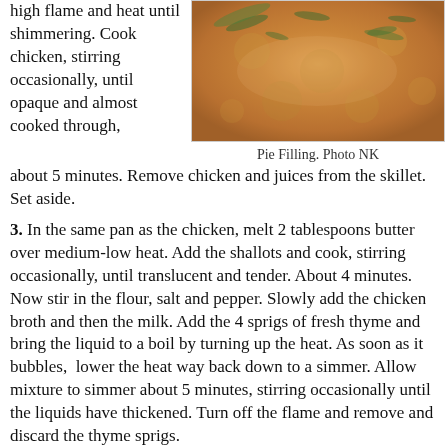high flame and heat until shimmering. Cook chicken, stirring occasionally, until opaque and almost cooked through, about 5 minutes. Remove chicken and juices from the skillet. Set aside.
[Figure (photo): Close-up photo of creamy chicken pie filling with herbs, orange-yellow color.]
Pie Filling. Photo NK
3. In the same pan as the chicken, melt 2 tablespoons butter over medium-low heat. Add the shallots and cook, stirring occasionally, until translucent and tender. About 4 minutes. Now stir in the flour, salt and pepper. Slowly add the chicken broth and then the milk. Add the 4 sprigs of fresh thyme and bring the liquid to a boil by turning up the heat. As soon as it bubbles,  lower the heat way back down to a simmer. Allow mixture to simmer about 5 minutes, stirring occasionally until the liquids have thickened. Turn off the flame and remove and discard the thyme sprigs.
4. Meanwhile, in another medium sauté pan, add the last tablespoon of butter and...